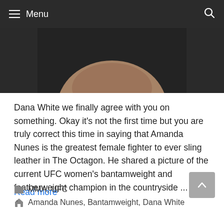Menu
[Figure (photo): Close-up photo of a person's face looking downward, wearing a dark shirt, cropped at chin level]
Dana White we finally agree with you on something. Okay it's not the first time but you are truly correct this time in saying that Amanda Nunes is the greatest female fighter to ever sling leather in The Octagon. He shared a picture of the current UFC women's bantamweight and featherweight champion in the countryside ...
Read more
MMA, UFC
Amanda Nunes, Bantamweight, Dana White